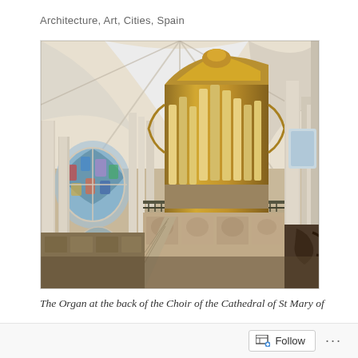Architecture, Art, Cities, Spain
[Figure (photo): Interior photograph of a cathedral showing the ornate gilded organ at the back of the choir, with Gothic vaulted ceilings, carved choir stalls, stained glass rose windows on the left, and tall stone columns. The organ case is decorated in gold Baroque carvings, set above an elaborately carved stone rood screen with iron railings.]
The Organ at the back of the Choir of the Cathedral of St Mary of
Follow ...